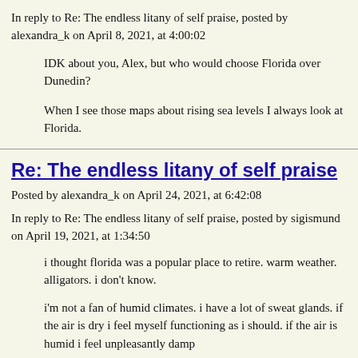In reply to Re: The endless litany of self praise, posted by alexandra_k on April 8, 2021, at 4:00:02
IDK about you, Alex, but who would choose Florida over Dunedin?
When I see those maps about rising sea levels I always look at Florida.
Re: The endless litany of self praise
Posted by alexandra_k on April 24, 2021, at 6:42:08
In reply to Re: The endless litany of self praise, posted by sigismund on April 19, 2021, at 1:34:50
i thought florida was a popular place to retire. warm weather. alligators. i don't know.
i'm not a fan of humid climates. i have a lot of sweat glands. if the air is dry i feel myself functioning as i should. if the air is humid i feel unpleasantly damp